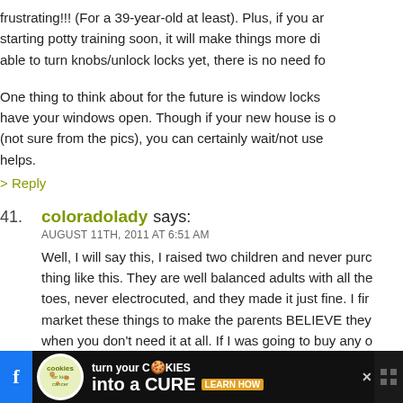frustrating!!! (For a 39-year-old at least). Plus, if you are starting potty training soon, it will make things more di... able to turn knobs/unlock locks yet, there is no need fo...
One thing to think about for the future is window locks... have your windows open. Though if your new house is ... (not sure from the pics), you can certainly wait/not use helps.
> Reply
41. coloradolady says:
AUGUST 11TH, 2011 AT 6:51 AM

Well, I will say this, I raised two children and never purc... thing like this. They are well balanced adults with all the... toes, never electrocuted, and they made it just fine. I fir... market these things to make the parents BELIEVE they ... when you don't need it at all. If I was going to buy any o... plugs for the outlets and that is all. You are home with y... should be able to keep up with what is going on withou...
[Figure (other): Advertisement banner: Cookies for Kids Cancer - turn your cookies into a CURE LEARN HOW, with social media icons and close buttons]